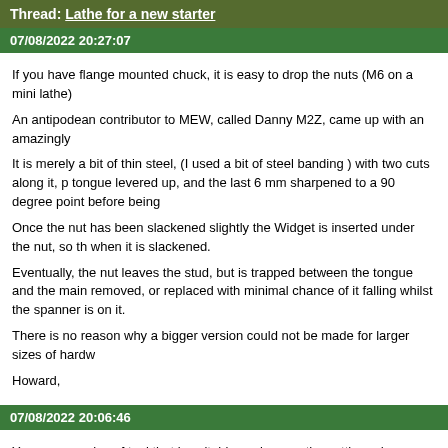Thread: Lathe for a new starter
07/08/2022 20:27:07
If you have flange mounted chuck, it is easy to drop the nuts (M6 on a mini lathe)
An antipodean contributor to MEW, called Danny M2Z, came up with an amazingly
It is merely a bit of thin steel, (I used a bit of steel banding ) with two cuts along it, p tongue levered up, and the last 6 mm sharpened to a 90 degree point before being
Once the nut has been slackened slightly the Widget is inserted under the nut, so th when it is slackened.
Eventually, the nut leaves the stud, but is trapped between the tongue and the main removed, or replaced with minimal chance of it falling whilst the spanner is on it.
There is no reason why a bigger version could not be made for larger sizes of hardw
Howard,
07/08/2022 20:06:46
You can use size of tool that is suitable, as long as the cutting edge can be brought
This the important bit, literally!
You can use a full 12 mm shank tool, or even a 1/8" toolbit, on the same machine, a correct (centre ) height.
I have used 1/8" toolbits on a lathe capable of swinging 12", but obviously you d